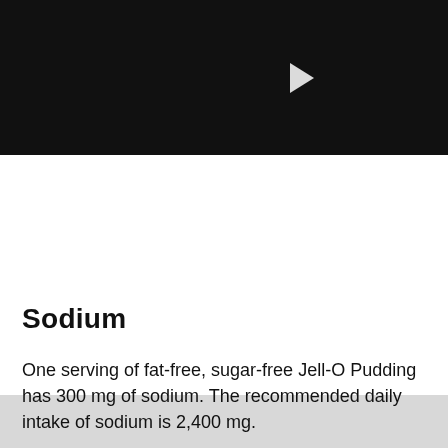[Figure (screenshot): Video player with black background and white play button triangle in center]
Brought to you by
LeafTV
Sodium
One serving of fat-free, sugar-free Jell-O Pudding has 300 mg of sodium. The recommended daily intake of sodium is 2,400 mg.